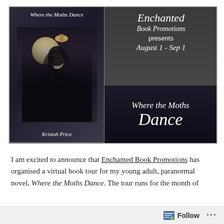[Figure (illustration): Promotional banner for 'Where the Moths Dance' by Kristoh Price, presented by Enchanted Book Promotions. Left half shows gothic book cover with woman in dark clothing, moth, and moon. Right half shows text: Enchanted Book Promotions presents August 1 - Sep 1, Where the Moths Dance.]
I am excited to announce that Enchanted Book Promotions has organised a virtual book tour for my young adult, paranormal novel, Where the Moths Dance. The tour runs for the month of
Follow ...